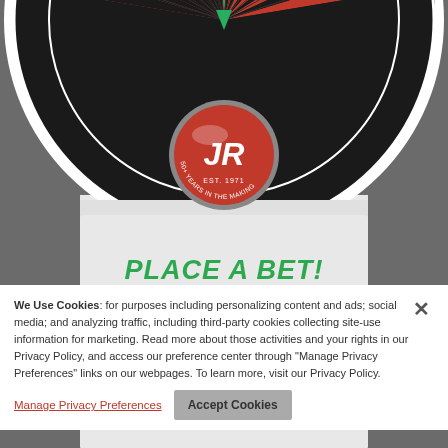[Figure (illustration): A roulette wheel (top half visible) with red, black, and green segments, numbers including 12, 28, 7, 29, 18, 4, 21, 2, 25, 17 visible around the rim, and a green pointer at the top center. Below the wheel is a circular JR logo badge (red button with white 'JR' text, 'EST. 1971' and '50+ YEARS IN THE MAKING' text around it) on a light gray promotional card background.]
PLACE A BET!
SPIN FOR A CHANCE TO WIN!
We Use Cookies: for purposes including personalizing content and ads; social media; and analyzing traffic, including third-party cookies collecting site-use information for marketing. Read more about those activities and your rights in our Privacy Policy, and access our preference center through "Manage Privacy Preferences" links on our webpages. To learn more, visit our Privacy Policy.
Manage Privacy Preferences
Accept Cookies